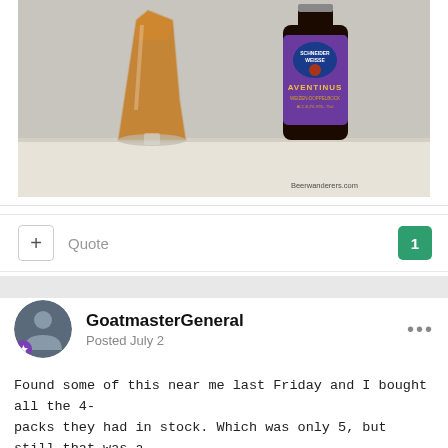[Figure (photo): A glass of dark amber beer next to a bottle of Schneider Weisse Aventinus Weizen-Doppelbock on a marble surface. Watermark reads Beerwanderers.com.]
+ Quote  1
GoatmasterGeneral
Posted July 2
Found some of this near me last Friday and I bought all the 4-packs they had in stock. Which was only 5, but still that was a score because it's tasty AF.

Weyerbacher 'TINY' Belgian Imperial Stout 11.8% (Easton PA)